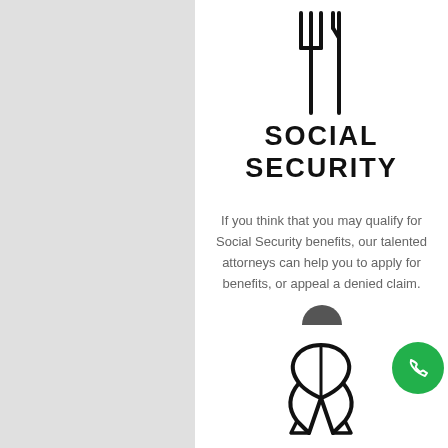[Figure (illustration): Icon of a person (fork/utensils figure) in black outline style]
SOCIAL SECURITY
If you think that you may qualify for Social Security benefits, our talented attorneys can help you to apply for benefits, or appeal a denied claim.
[Figure (illustration): Awareness ribbon icon in black outline style]
[Figure (illustration): Green circular phone/call button]